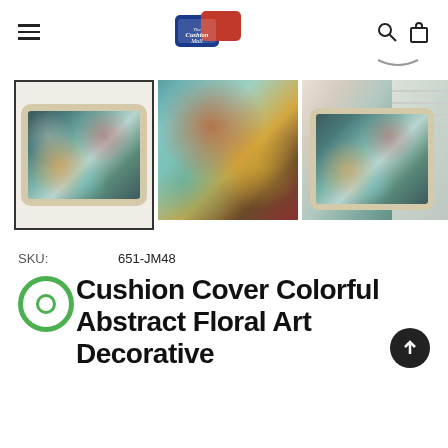The Cushion Mall — navigation header with logo, search, and cart icons
[Figure (photo): Product photo gallery showing decorative cushion cover with colorful abstract floral art. Three images: left thumbnail selected with border showing full cushion, center close-up of floral fabric pattern in teal/orange/brown, right lifestyle shot of cushion on sofa.]
SKU:    651-JM48
Cushion Cover Colorful Abstract Floral Art Decorative